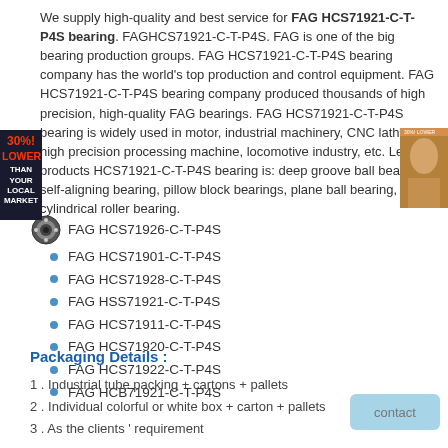We supply high-quality and best service for FAG HCS71921-C-T-P4S bearing. FAGHCS71921-C-T-P4S. FAG is one of the big bearing production groups. FAG HCS71921-C-T-P4S bearing company has the world's top production and control equipment. FAG HCS71921-C-T-P4S bearing company produced thousands of high precision, high-quality FAG bearings. FAG HCS71921-C-T-P4S bearing is widely used in motor, industrial machinery, CNC lathes, high precision processing machine, locomotive industry, etc. Leading products HCS71921-C-T-P4S bearing is: deep groove ball bearings, self-aligning bearing, pillow block bearings, plane ball bearing, cylindrical roller bearing.
FAG HCS71926-C-T-P4S
FAG HCS71901-C-T-P4S
FAG HCS71928-C-T-P4S
FAG HSS71921-C-T-P4S
FAG HCS71911-C-T-P4S
FAG HCS71920-C-T-P4S
FAG HCS71922-C-T-P4S
FAG HCB71921-C-T-P4S
Packaging Details :
1 . Industrial tube packing + cartons + pallets
2 . Individual colorful or white box + carton + pallets
3 . As the clients ' requirement